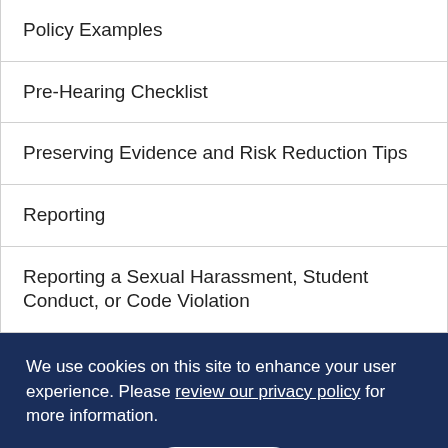Policy Examples
Pre-Hearing Checklist
Preserving Evidence and Risk Reduction Tips
Reporting
Reporting a Sexual Harassment, Student Conduct, or Code Violation
We use cookies on this site to enhance your user experience. Please review our privacy policy for more information.